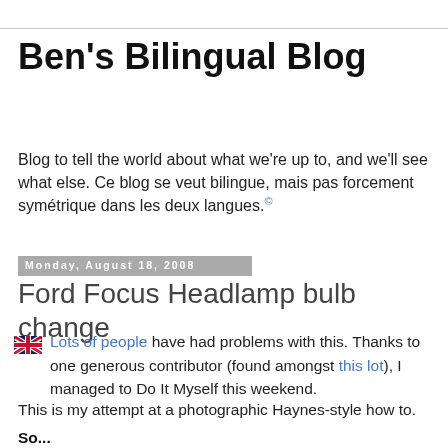Ben's Bilingual Blog
Blog to tell the world about what we're up to, and we'll see what else. Ce blog se veut bilingue, mais pas forcement symétrique dans les deux langues.©
Monday, August 18, 2008
Ford Focus Headlamp bulb change
[UK flag] Lots of people have had problems with this. Thanks to one generous contributor (found amongst this lot), I managed to Do It Myself this weekend.
This is my attempt at a photographic Haynes-style how to.
So...
You do not need to take the front of the car off.
You do not need to take the battery out.